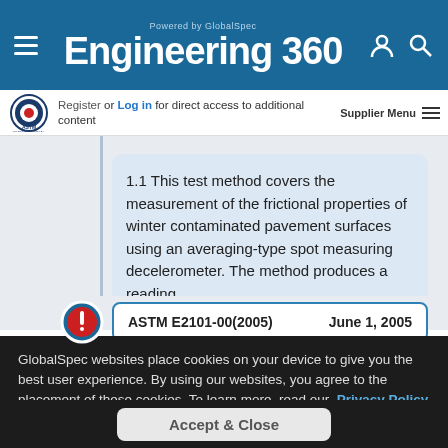Powered by GlobalSpec Engineering 360
Register or Log in for direct access to additional content
Supplier Menu
1.1 This test method covers the measurement of the frictional properties of winter contaminated pavement surfaces using an averaging-type spot measuring decelerometer. The method produces a reading...
ASTM E2101-00(2005)   June 1, 2005
GlobalSpec websites place cookies on your device to give you the best user experience. By using our websites, you agree to the placement of these cookies. To learn more, read our Privacy Policy
Accept & Close